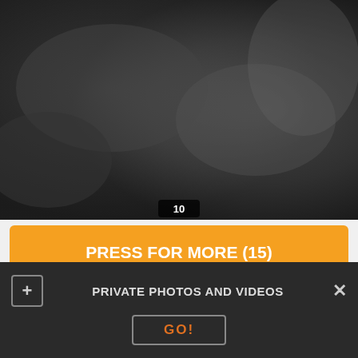[Figure (photo): Black and white close-up photo with number badge showing 10]
PRESS FOR MORE (15)
[Figure (infographic): Thumbs up icon, thumbs down icon, X icon, with 90% rating]
Comments (7)
PRIVATE PHOTOS AND VIDEOS
GO!